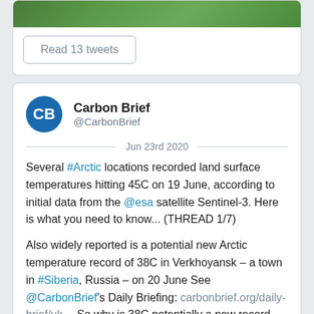[Figure (photo): Aerial photograph of green field/landscape with white lines, partially visible at top of page]
Read 13 tweets
Carbon Brief @CarbonBrief
Jun 23rd 2020
Several #Arctic locations recorded land surface temperatures hitting 45C on 19 June, according to initial data from the @esa satellite Sentinel-3. Here is what you need to know... (THREAD 1/7)
Also widely reported is a potential new Arctic temperature record of 38C in Verkhoyansk – a town in #Siberia, Russia – on 20 June See @CarbonBrief's Daily Briefing: carbonbrief.org/daily-brief/uk… So why is 38C potentially a new record, but not 45C? 2/7